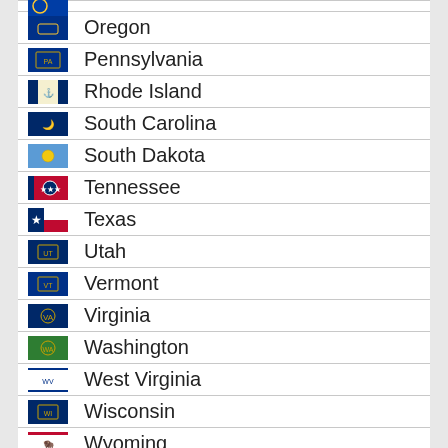Oregon
Pennsylvania
Rhode Island
South Carolina
South Dakota
Tennessee
Texas
Utah
Vermont
Virginia
Washington
West Virginia
Wisconsin
Wyoming